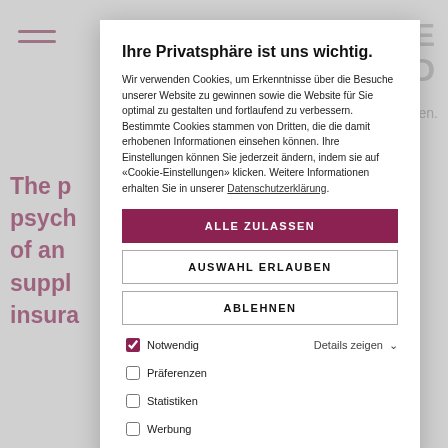[Figure (screenshot): Background webpage with burgundy/maroon logo text 'ATRIE AND', hamburger menu icon, tagline ending in 'uen.', and large burgundy paragraph text visible behind cookie dialog]
Ihre Privatsphäre ist uns wichtig.
Wir verwenden Cookies, um Erkenntnisse über die Besuche unserer Website zu gewinnen sowie die Website für Sie optimal zu gestalten und fortlaufend zu verbessern. Bestimmte Cookies stammen von Dritten, die die damit erhobenen Informationen einsehen können. Ihre Einstellungen können Sie jederzeit ändern, indem sie auf «Cookie-Einstellungen» klicken. Weitere Informationen erhalten Sie in unserer Datenschutzerklärung.
ALLE ZULASSEN
AUSWAHL ERLAUBEN
ABLEHNEN
☑ Notwendig  Details zeigen ∨
☐ Präferenzen
☐ Statistiken
☐ Werbung